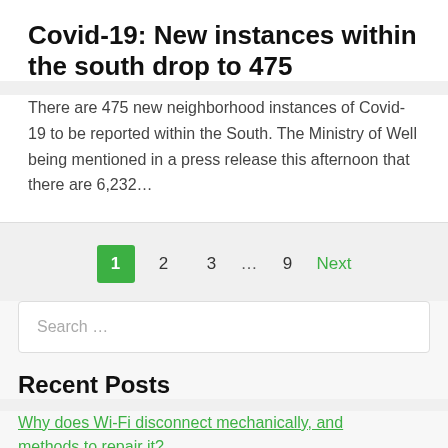Covid-19: New instances within the south drop to 475
There are 475 new neighborhood instances of Covid-19 to be reported within the South. The Ministry of Well being mentioned in a press release this afternoon that there are 6,232…
1  2  3  …  9  Next
Search …
Recent Posts
Why does Wi-Fi disconnect mechanically, and methods to repair it?